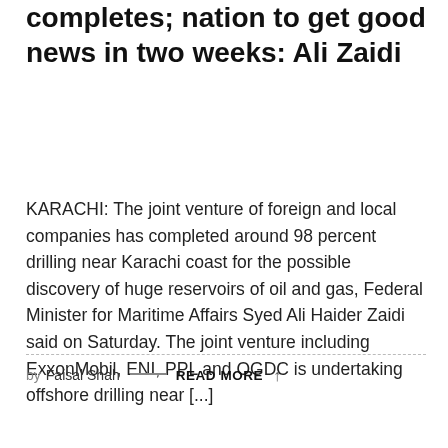completes; nation to get good news in two weeks: Ali Zaidi
KARACHI: The joint venture of foreign and local companies has completed around 98 percent drilling near Karachi coast for the possible discovery of huge reservoirs of oil and gas, Federal Minister for Maritime Affairs Syed Ali Haider Zaidi said on Saturday. The joint venture including ExxonMobil, ENI, PPL and OGDC is undertaking offshore drilling near [...]
by Faisal Shah — READ MORE ↑